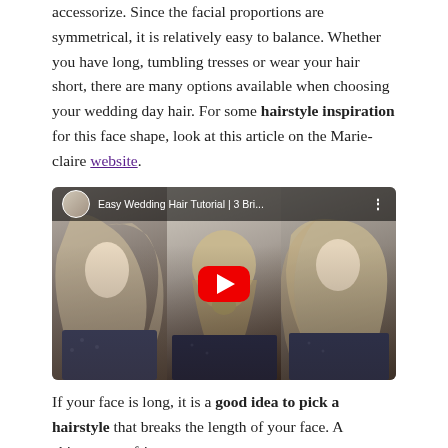accessorize. Since the facial proportions are symmetrical, it is relatively easy to balance. Whether you have long, tumbling tresses or wear your hair short, there are many options available when choosing your wedding day hair. For some hairstyle inspiration for this face shape, look at this article on the Marie-claire website.
[Figure (screenshot): YouTube video thumbnail showing three women with different hairstyles side by side. Title reads 'Easy Wedding Hair Tutorial | 3 Bri...' with a YouTube play button overlay.]
If your face is long, it is a good idea to pick a hairstyle that breaks the length of your face. A chignon or a fringe